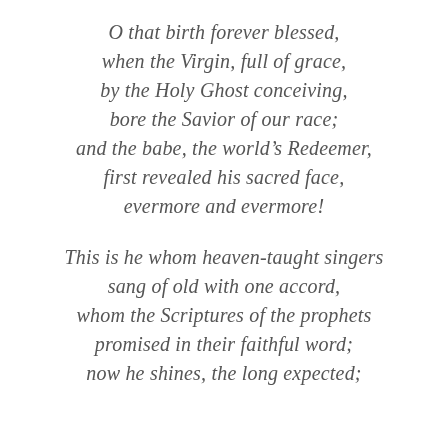O that birth forever blessed,
when the Virgin, full of grace,
by the Holy Ghost conceiving,
bore the Savior of our race;
and the babe, the world’s Redeemer,
first revealed his sacred face,
evermore and evermore!

This is he whom heaven-taught singers
sang of old with one accord,
whom the Scriptures of the prophets
promised in their faithful word;
now he shines, the long expected;